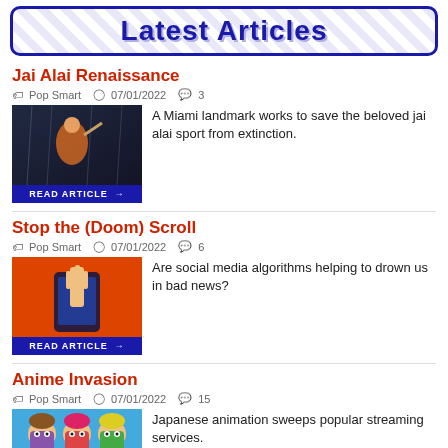Latest Articles
Jai Alai Renaissance
Pop Smart  07/01/2022  3
[Figure (photo): Photo of jai alai player in dark stadium with blue/dark background]
A Miami landmark works to save the beloved jai alai sport from extinction.
Stop the (Doom) Scroll
Pop Smart  07/01/2022  6
[Figure (photo): Illustration of a hand reaching out of a smartphone on orange/red background]
Are social media algorithms helping to drown us in bad news?
Anime Invasion
Pop Smart  07/01/2022  15
[Figure (illustration): Anime-style cartoon characters on light blue background]
Japanese animation sweeps popular streaming services.